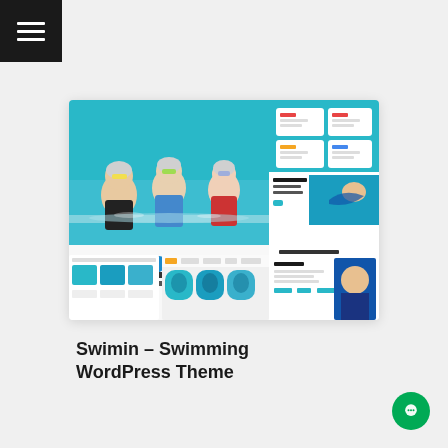[Figure (screenshot): Hamburger menu icon (three white lines) on dark background, top-left corner]
[Figure (screenshot): Screenshot of Swimin Swimming WordPress Theme showing swimming pool photos with children, theme UI mockups in blue and white, logo and section previews]
Swimin – Swimming WordPress Theme